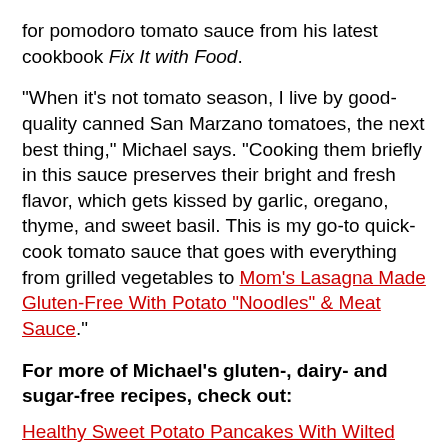for pomodoro tomato sauce from his latest cookbook Fix It with Food.
"When it's not tomato season, I live by good-quality canned San Marzano tomatoes, the next best thing," Michael says. "Cooking them briefly in this sauce preserves their bright and fresh flavor, which gets kissed by garlic, oregano, thyme, and sweet basil. This is my go-to quick-cook tomato sauce that goes with everything from grilled vegetables to Mom's Lasagna Made Gluten-Free With Potato "Noodles" & Meat Sauce."
For more of Michael's gluten-, dairy- and sugar-free recipes, check out:
Healthy Sweet Potato Pancakes With Wilted Greens